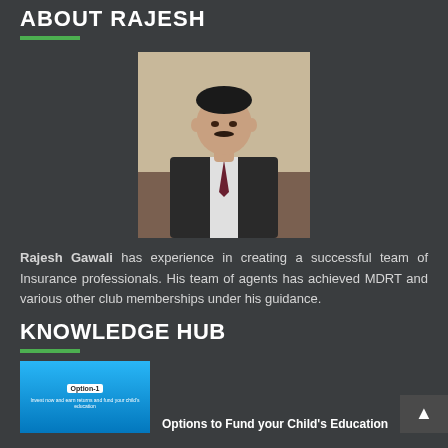ABOUT RAJESH
[Figure (photo): Portrait photo of Rajesh Gawali, a man in a dark suit with a tie, seated indoors]
Rajesh Gawali has experience in creating a successful team of Insurance professionals. His team of agents has achieved MDRT and various other club memberships under his guidance.
KNOWLEDGE HUB
[Figure (photo): Thumbnail image for article about Options to Fund your Child's Education, showing Option-1 text on blue background]
Options to Fund your Child's Education